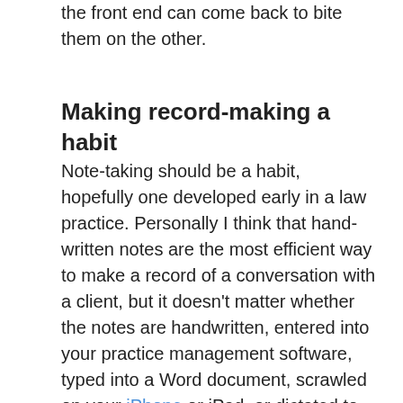the front end can come back to bite them on the other.
Making record-making a habit
Note-taking should be a habit, hopefully one developed early in a law practice. Personally I think that hand-written notes are the most efficient way to make a record of a conversation with a client, but it doesn't matter whether the notes are handwritten, entered into your practice management software, typed into a Word document, scrawled on your iPhone or iPad, or dictated to your legal assistant. The goal is to create a record of the date and time that you talked with the client and, even for short conversations, some indication of the subject matter that was discussed. Lawyers should do